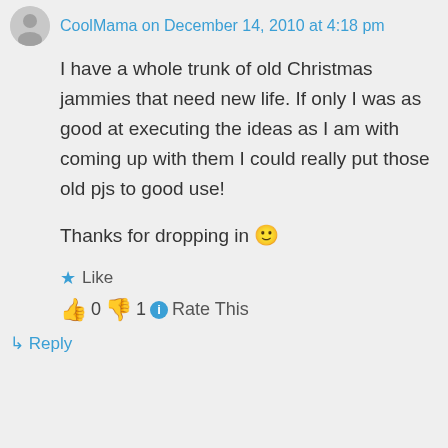CoolMama on December 14, 2010 at 4:18 pm
I have a whole trunk of old Christmas jammies that need new life. If only I was as good at executing the ideas as I am with coming up with them I could really put those old pjs to good use!
Thanks for dropping in 🙂
★ Like
👍 0 👎 1 ℹ Rate This
↳ Reply
Advertisements
Advertisements
[Figure (photo): MAC cosmetics advertisement showing lipsticks in purple, pink, and red with MAC logo and SHOP NOW button]